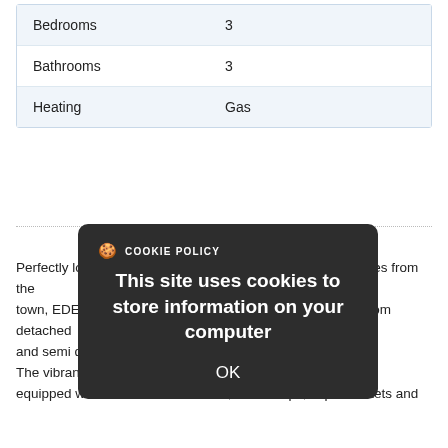| Property | Value |
| --- | --- |
| Bedrooms | 3 |
| Bathrooms | 3 |
| Heating | Gas |
Perfectly located on the Hillsborough Road, just a few minutes from the town, EDENGROVE offers a superb range of 3 and 4 bedroom detached and semi detached... The vibrant an... extremely well equipped with excellent restaurants, local shops, supermarkets and
[Figure (screenshot): Cookie policy modal dialog with dark background, showing title 'COOKIE POLICY' with cookie icon, body text 'This site uses cookies to store information on your computer', and an OK button.]